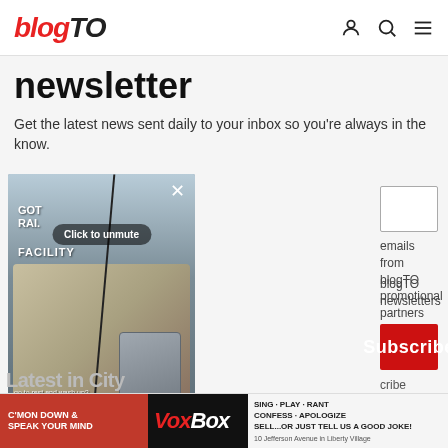blogTO — navigation header with logo, user icon, search icon, menu icon
newsletter
Get the latest news sent daily to your inbox so you're always in the know.
[Figure (screenshot): Video overlay showing a commercial truck/semi-truck at a facility, with 'GOT RAI.' and 'FACILITY' labels, a close (X) button, a 'Click to unmute' button, a pause button, and caption text 'go to rest and wash up?']
emails from blogTO promotional partners
blogTO newsletters
Subscribe
cribe anytime.
Latest in City
[Figure (infographic): Advertisement banner: C'MON DOWN & SPEAK YOUR MIND | VoxBox logo | SING · PLAY · RANT CONFESS · APOLOGIZE SELL...or just tell us a good joke! | 10 Jefferson Avenue in Liberty Village]